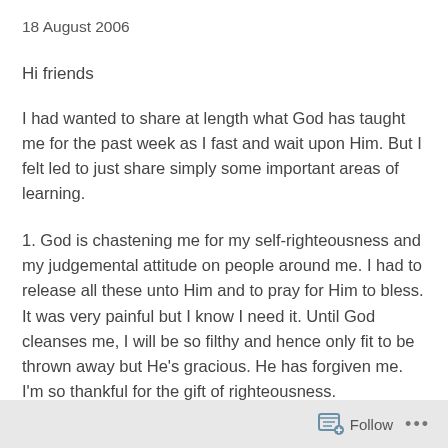18 August 2006
Hi friends
I had wanted to share at length what God has taught me for the past week as I fast and wait upon Him. But I felt led to just share simply some important areas of learning.
1. God is chastening me for my self-righteousness and my judgemental attitude on people around me. I had to release all these unto Him and to pray for Him to bless. It was very painful but I know I need it. Until God cleanses me, I will be so filthy and hence only fit to be thrown away but He’s gracious. He has forgiven me. I’m so thankful for the gift of righteousness.
Follow ...